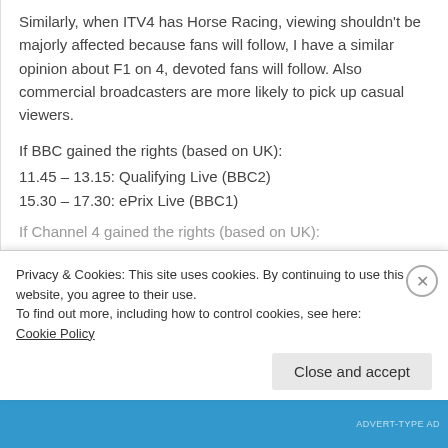Similarly, when ITV4 has Horse Racing, viewing shouldn't be majorly affected because fans will follow, I have a similar opinion about F1 on 4, devoted fans will follow. Also commercial broadcasters are more likely to pick up casual viewers.
If BBC gained the rights (based on UK):
11.45 – 13.15: Qualifying Live (BBC2)
15.30 – 17.30: ePrix Live (BBC1)
If Channel 4 gained the rights (based on UK):
Privacy & Cookies: This site uses cookies. By continuing to use this website, you agree to their use. To find out more, including how to control cookies, see here: Cookie Policy
Close and accept